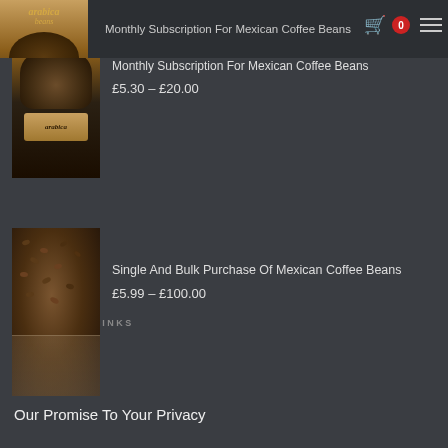Monthly Subscription For Mexican Coffee Beans £5.30 – £20.00
[Figure (photo): Arabica beans product image with logo label]
Monthly Subscription For Mexican Coffee Beans
£5.30 – £20.00
[Figure (photo): Bag of Mexican coffee beans, bulk purchase product image]
Single And Bulk Purchase Of Mexican Coffee Beans
£5.99 – £100.00
IMPORTANT LINKS
Home
My account
Our Promise To Your Privacy